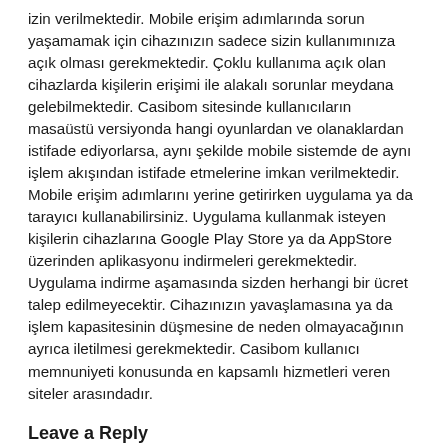izin verilmektedir. Mobile erişim adımlarında sorun yaşamamak için cihazınızın sadece sizin kullanımınıza açık olması gerekmektedir. Çoklu kullanıma açık olan cihazlarda kişilerin erişimi ile alakalı sorunlar meydana gelebilmektedir. Casibom sitesinde kullanıcıların masaüstü versiyonda hangi oyunlardan ve olanaklardan istifade ediyorlarsa, aynı şekilde mobile sistemde de aynı işlem akışından istifade etmelerine imkan verilmektedir. Mobile erişim adımlarını yerine getirirken uygulama ya da tarayıcı kullanabilirsiniz. Uygulama kullanmak isteyen kişilerin cihazlarına Google Play Store ya da AppStore üzerinden aplikasyonu indirmeleri gerekmektedir. Uygulama indirme aşamasında sizden herhangi bir ücret talep edilmeyecektir. Cihazınızın yavaşlamasına ya da işlem kapasitesinin düşmesine de neden olmayacağının ayrıca iletilmesi gerekmektedir. Casibom kullanıcı memnuniyeti konusunda en kapsamlı hizmetleri veren siteler arasındadır.
Leave a Reply
Your email address will not be published. Required fields are marked *